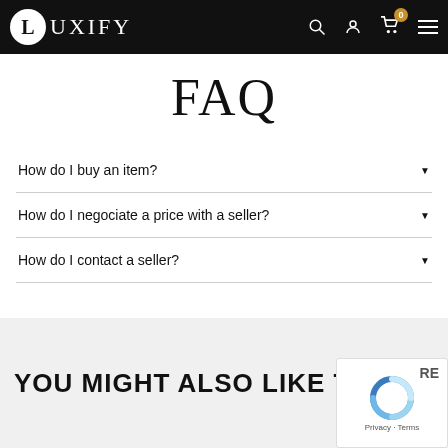LUXIFY — navigation header with logo, search, account, cart (0), menu icons
FAQ
How do I buy an item?
How do I negociate a price with a seller?
How do I contact a seller?
YOU MIGHT ALSO LIKE THIS